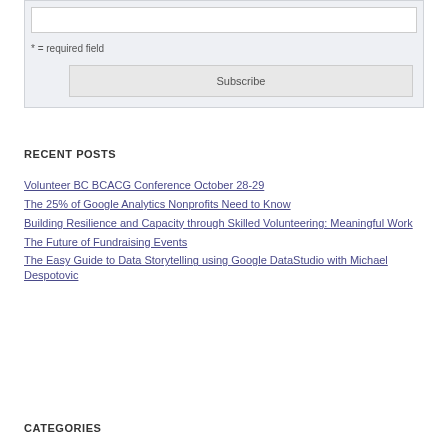* = required field
Subscribe
RECENT POSTS
Volunteer BC BCACG Conference October 28-29
The 25% of Google Analytics Nonprofits Need to Know
Building Resilience and Capacity through Skilled Volunteering: Meaningful Work
The Future of Fundraising Events
The Easy Guide to Data Storytelling using Google DataStudio with Michael Despotovic
CATEGORIES